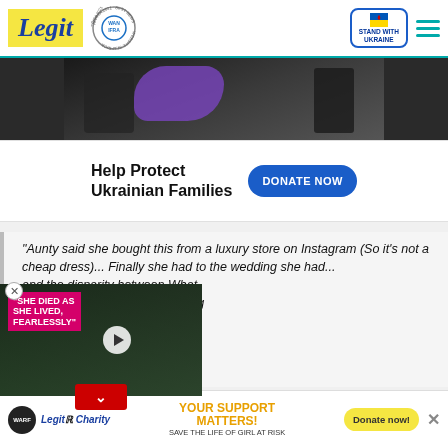Legit — Best News Website in Africa 2021 (WAN IFRA) | Stand with Ukraine
[Figure (photo): Dark photo of people outdoors, one wearing a purple/blue wrap, partial view of Ukrainian crisis scene]
Help Protect Ukrainian Families   DONATE NOW
"Aunty said she bought this from a luxury store on Instagram (So it's not a cheap dress)... Finally she had to [attend] the wedding she had... [understand] the disparity between What [you want and] What you actually have??? Abeg [bridge the] difference and proffer solutions."
[Figure (screenshot): Video overlay showing a woman and man in formal attire, pink label reading SHE DIED AS SHE LIVED, FEARLESSLY, red down-arrow button, play button]
YOUR SUPPORT MATTERS! SAVE THE LIFE OF GIRL AT RISK — Donate now!